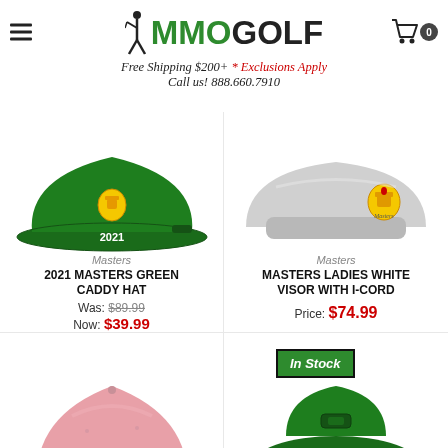MMOGOLF — Free Shipping $200+ * Exclusions Apply — Call us! 888.660.7910
[Figure (photo): 2021 Masters green caddy hat with yellow logo]
Masters
2021 MASTERS GREEN CADDY HAT
Was: $89.99 Now: $39.99
[Figure (photo): Masters Ladies white visor with I-cord and yellow logo]
Masters
MASTERS LADIES WHITE VISOR WITH I-CORD
Price: $74.99
[Figure (photo): Masters pink hat with Masters script embroidery]
[Figure (photo): Masters green visor with yellow logo, In Stock badge]